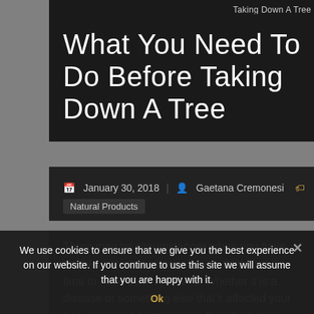Taking Down A Tree
What You Need To Do Before Taking Down A Tree
January 30, 2018  Gaetana Cremonesi  Natural Products
There may be circumstances when you have trouble with your trees, and you think that it's time to have them removed. Whether it is a disease or something else that's affected your tree, you need to make sure the situation is assessed by professional persons, and let THEM decide what really needs to be done.
We use cookies to ensure that we give you the best experience on our website. If you continue to use this site we will assume that you are happy with it. Ok